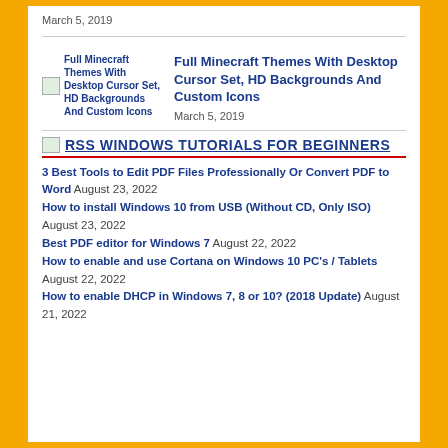March 5, 2019
[Figure (illustration): Thumbnail image for Full Minecraft Themes With Desktop Cursor Set, HD Backgrounds And Custom Icons article]
Full Minecraft Themes With Desktop Cursor Set, HD Backgrounds And Custom Icons
March 5, 2019
RSS WINDOWS TUTORIALS FOR BEGINNERS
3 Best Tools to Edit PDF Files Professionally Or Convert PDF to Word August 23, 2022
How to install Windows 10 from USB (Without CD, Only ISO) August 23, 2022
Best PDF editor for Windows 7 August 22, 2022
How to enable and use Cortana on Windows 10 PC's / Tablets August 22, 2022
How to enable DHCP in Windows 7, 8 or 10? (2018 Update) August 21, 2022